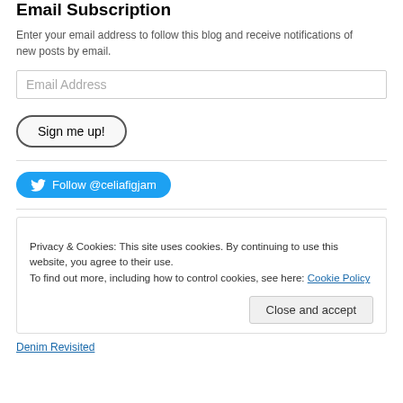Email Subscription
Enter your email address to follow this blog and receive notifications of new posts by email.
Email Address
Sign me up!
Follow @celiafigjam
Privacy & Cookies: This site uses cookies. By continuing to use this website, you agree to their use.
To find out more, including how to control cookies, see here: Cookie Policy
Close and accept
Denim Revisited